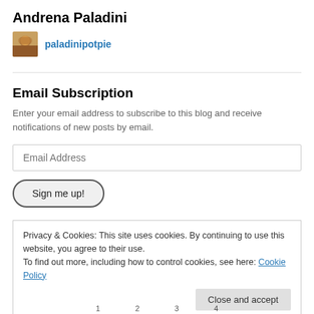Andrena Paladini
paladinipotpie
Email Subscription
Enter your email address to subscribe to this blog and receive notifications of new posts by email.
Email Address
Sign me up!
Privacy & Cookies: This site uses cookies. By continuing to use this website, you agree to their use. To find out more, including how to control cookies, see here: Cookie Policy
Close and accept
1   2   3   4